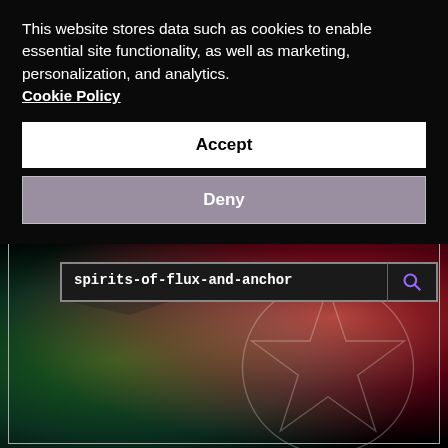This website stores data such as cookies to enable essential site functionality, as well as marketing, personalization, and analytics. Cookie Policy
Accept
Deny
[Figure (screenshot): Website search results page with dark background featuring red and green gradients, a pentagram symbol, an airplane silhouette, a search bar showing 'spirits-of-flux-and-anchor', and search result headings in purple and white text.]
SEARCH RESULTS FOR: SPIRITS-OF-FLUX-AND-ANCHOR
SHOWING 1-3 OF 3 RESULTS